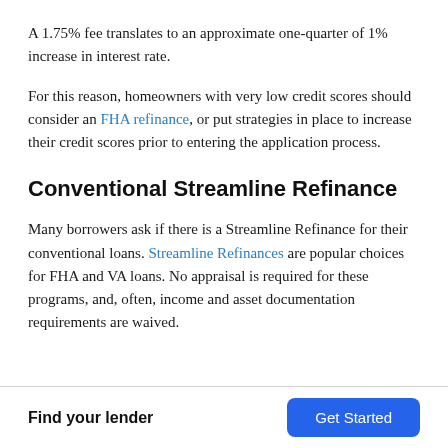A 1.75% fee translates to an approximate one-quarter of 1% increase in interest rate.
For this reason, homeowners with very low credit scores should consider an FHA refinance, or put strategies in place to increase their credit scores prior to entering the application process.
Conventional Streamline Refinance
Many borrowers ask if there is a Streamline Refinance for their conventional loans. Streamline Refinances are popular choices for FHA and VA loans. No appraisal is required for these programs, and, often, income and asset documentation requirements are waived.
Find your lender  Get Started